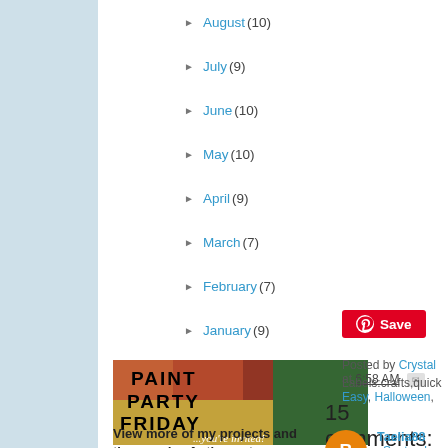► August (10)
► July (9)
► June (10)
► May (10)
► April (9)
► March (7)
► February (7)
► January (9)
[Figure (illustration): Paint Party Friday — you're invited! colorful painted background with bold text]
View more of my projects and thousands of others at:
[Figure (other): Pinterest Save button (red button with Pinterest logo and 'Save' text)]
Posted by Crystal at 6:58 AM
Labels:crafts,quick Easy, Halloween,
15 comments:
Taelia88  September 2, 20
What a great idea!! I love t
Reply